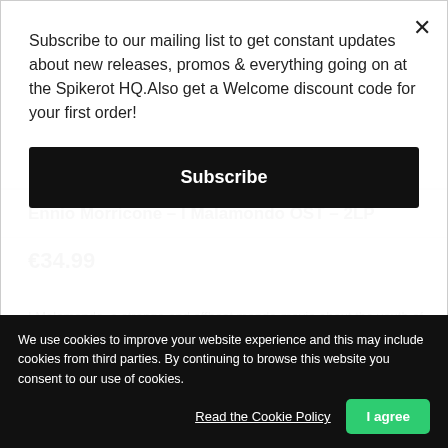Subscribe to our mailing list to get constant updates about new releases, promos & everything going on at the Spikerot HQ.Also get a Welcome discount code for your first order!
Subscribe
Ennio Morricone – I Malamondo OST – 2LP
€34.99
I Malamondo, a strange and offbeat mondo-movie about the youth of the early '60s, directed by Paolo Cavara.
This is one of the earliest works of Maestro Morricone, as well as one of his most eccentric and colorful scores ever. Quirky and vivid, this soundtrack spans through many different kinds of music.
We use cookies to improve your website experience and this may include cookies from third parties. By continuing to browse this website you consent to our use of cookies.
Read the Cookie Policy
I agree